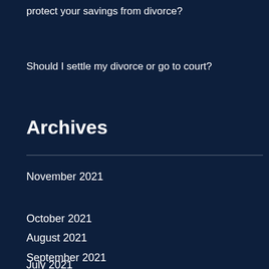protect your savings from divorce?
Should I settle my divorce or go to court?
Archives
November 2021
October 2021
September 2021
August 2021
July 2021